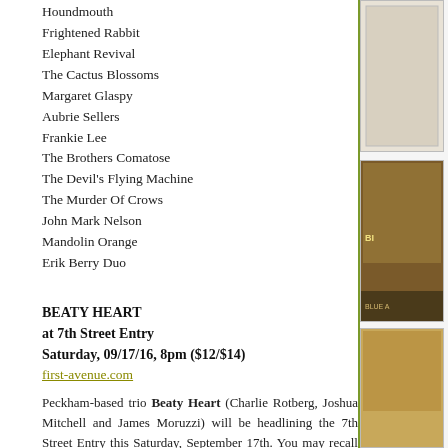Houndmouth
Frightened Rabbit
Elephant Revival
The Cactus Blossoms
Margaret Glaspy
Aubrie Sellers
Frankie Lee
The Brothers Comatose
The Devil's Flying Machine
The Murder Of Crows
John Mark Nelson
Mandolin Orange
Erik Berry Duo
BEATY HEART
at 7th Street Entry
Saturday, 09/17/16, 8pm ($12/$14)
first-avenue.com
Peckham-based trio Beaty Heart (Charlie Rotberg, Joshua Mitchell and James Moruzzi) will be headlining the 7th Street Entry this Saturday, September 17th. You may recall that they had to cancel their entire 2014 USA tour due to VISA issues, when they were supposed to promote their debut album Mixed Blessings.
Beaty Heart is back, this time, promoting their sophomore album Till